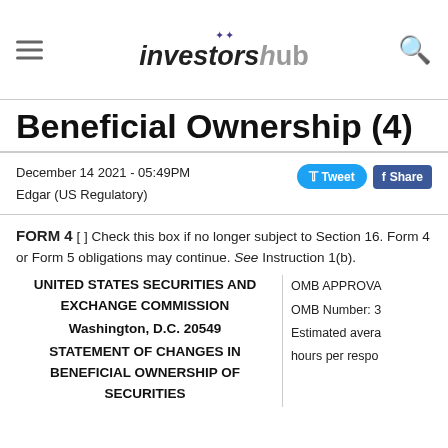InvestorsHub
Beneficial Ownership (4)
December 14 2021 - 05:49PM
Edgar (US Regulatory)
FORM 4 [ ] Check this box if no longer subject to Section 16. Form 4 or Form 5 obligations may continue. See Instruction 1(b).
UNITED STATES SECURITIES AND EXCHANGE COMMISSION
Washington, D.C. 20549
STATEMENT OF CHANGES IN BENEFICIAL OWNERSHIP OF SECURITIES
OMB APPROVA
OMB Number: 3
Estimated avera
hours per respo